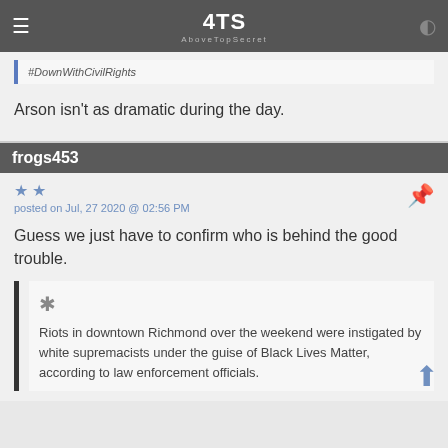ATS AboveTopSecret
#DownWithCivilRights
Arson isn't as dramatic during the day.
frogs453
posted on Jul, 27 2020 @ 02:56 PM
Guess we just have to confirm who is behind the good trouble.
Riots in downtown Richmond over the weekend were instigated by white supremacists under the guise of Black Lives Matter, according to law enforcement officials.